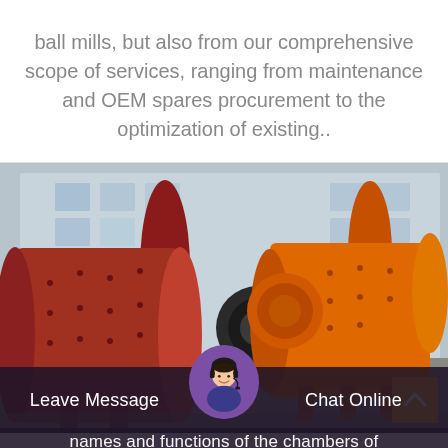ball mills, but also from our comprehensive scope of services, ranging from maintenance and OEM spares procurement to the optimization of existing..
[Figure (photo): Photograph of industrial ball mill equipment — one large red cylindrical ball mill on the left and one orange ball mill on the right, both sitting on metal frames in an outdoor industrial facility with a building in the background.]
Leave Message
Chat Online
names and functions of the chambers of